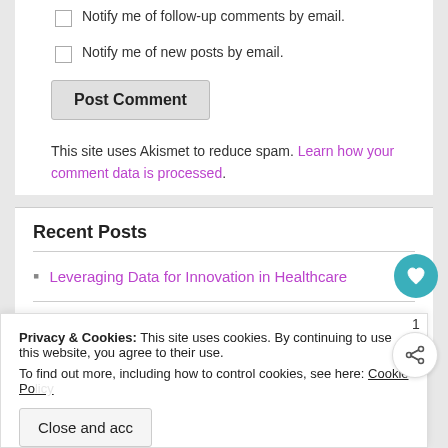Notify me of follow-up comments by email.
Notify me of new posts by email.
Post Comment
This site uses Akismet to reduce spam. Learn how your comment data is processed.
Recent Posts
Leveraging Data for Innovation in Healthcare
Scientists Might Have the Right Pill to Treat Lupus
Privacy & Cookies: This site uses cookies. By continuing to use this website, you agree to their use. To find out more, including how to control cookies, see here: Cookie Policy
Close and acc
Stars